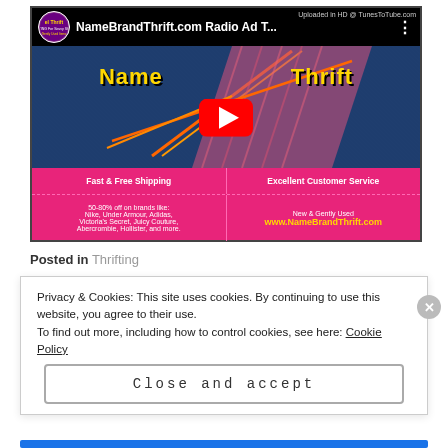[Figure (screenshot): YouTube video thumbnail for NameBrandThrift.com Radio Ad. Shows channel icon, video title 'NameBrandThrift.com Radio Ad T...', a denim background with diagonal shoe graphic, yellow 'Name Brand Thrift' text, a red YouTube play button, and a pink bottom section with text: 'Fast & Free Shipping', 'Excellent Customer Service', '50-80% off on brands like: Nike, Under Armour, Adidas, Victoria's Secret, Juicy Couture, Abercrombie, Hollister, and more.', 'New & Gently Used', 'www.NameBrandThrift.com'. Top right watermark: 'Uploaded in HD @ TunesToTube.com']
Posted in Thrifting
Privacy & Cookies: This site uses cookies. By continuing to use this website, you agree to their use.
To find out more, including how to control cookies, see here: Cookie Policy
Close and accept